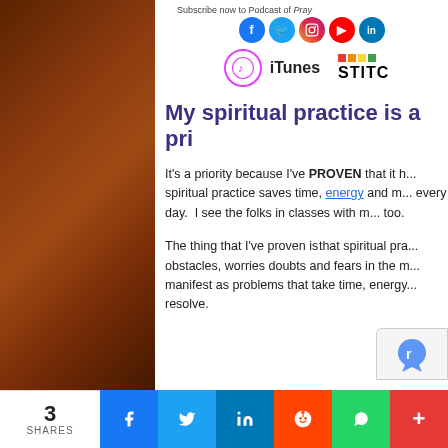[Figure (photo): Brown wooden texture background on the left strip of the page]
Subscribe now to Podcast of Pray...  [social icons: Facebook, Twitter, Instagram, YouTube, LinkedIn, iTunes, Stitcher]
My spiritual practice is a pri...
It's a priority because I've PROVEN that it h... spiritual practice saves time, energy and m... every day.  I see the folks in classes with m... too.
The thing that I've proven isthat spiritual pra... obstacles, worries doubts and fears in the m... manifest as problems that take time, energy... resolve.
3 SHARES  [Facebook] [Twitter] [LinkedIn] [Reddit] [WhatsApp] [More]